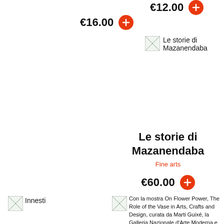€16.00
€12.00
[Figure (illustration): Small thumbnail image placeholder for Le storie di Mazanendaba]
Le storie di Mazanendaba
Le storie di Mazanendaba
Fine arts
€60.00
[Figure (illustration): Small thumbnail image placeholder for Innesti]
Innesti
[Figure (illustration): Small thumbnail image placeholder for Con la mostra On Flower Power]
Con la mostra On Flower Power, The Role of the Vase in Arts, Crafts and Design, curata da Marti Guixé, la Galleria Nazionale d'Arte Moderna e Contemporanea...